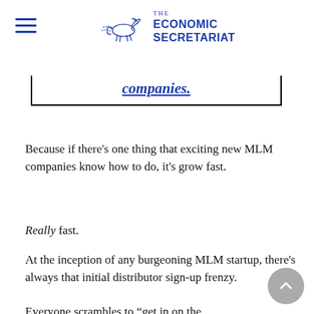THE ECONOMIC SECRETARIAT
companies.
Because if there’s one thing that exciting new MLM companies know how to do, it’s grow fast.
Really fast.
At the inception of any burgeoning MLM startup, there’s always that initial distributor sign-up frenzy.
Everyone scrambles to “get in on the